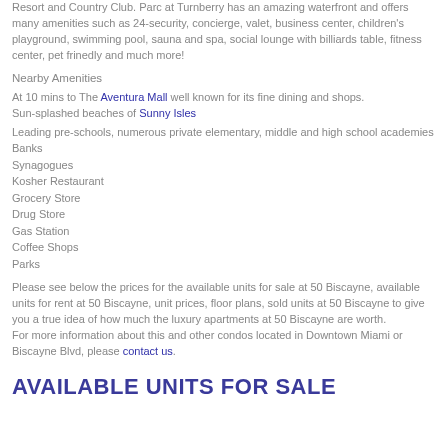Resort and Country Club. Parc at Turnberry has an amazing waterfront and offers many amenities such as 24-security, concierge, valet, business center, children's playground, swimming pool, sauna and spa, social lounge with billiards table, fitness center, pet frinedly and much more!
Nearby Amenities
At 10 mins to The Aventura Mall well known for its fine dining and shops. Sun-splashed beaches of Sunny Isles
Leading pre-schools, numerous private elementary, middle and high school academies
Banks
Synagogues
Kosher Restaurant
Grocery Store
Drug Store
Gas Station
Coffee Shops
Parks
Please see below the prices for the available units for sale at 50 Biscayne, available units for rent at 50 Biscayne, unit prices, floor plans, sold units at 50 Biscayne to give you a true idea of how much the luxury apartments at 50 Biscayne are worth. For more information about this and other condos located in Downtown Miami or Biscayne Blvd, please contact us.
AVAILABLE UNITS FOR SALE